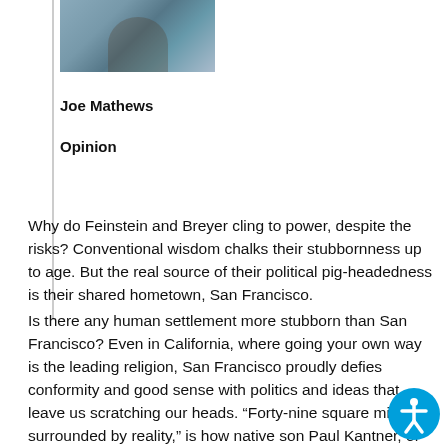[Figure (photo): Headshot photo of Joe Mathews, a man in a plaid shirt, cropped at top of page]
Joe Mathews
Opinion
Why do Feinstein and Breyer cling to power, despite the risks? Conventional wisdom chalks their stubbornness up to age. But the real source of their political pig-headedness is their shared hometown, San Francisco.
Is there any human settlement more stubborn than San Francisco? Even in California, where going your own way is the leading religion, San Francisco proudly defies conformity and good sense with politics and ideas that leave us scratching our heads. “Forty-nine square miles surrounded by reality,” is how native son Paul Kantner, of